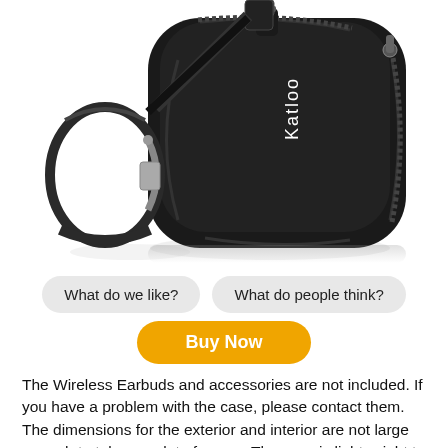[Figure (photo): A black Katloo branded hard shell earbuds carrying case with zipper closure and a black carabiner clip attached on the left side. The case has a rounded square shape and the Katloo logo is printed vertically in white text on the front.]
What do we like?
What do people think?
Buy Now
The Wireless Earbuds and accessories are not included. If you have a problem with the case, please contact them. The dimensions for the exterior and interior are not large enough to take up a lot of space. The case is lightweight to prevent extra load on the